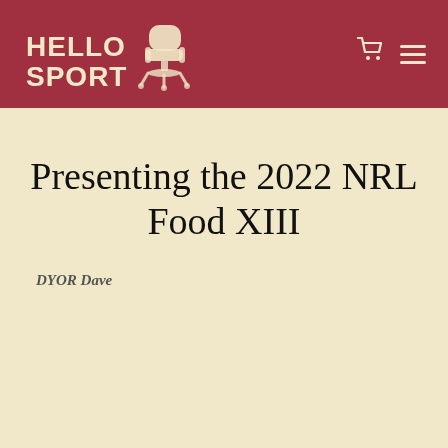HELLO SPORT
Presenting the 2022 NRL Food XIII
DYOR Dave